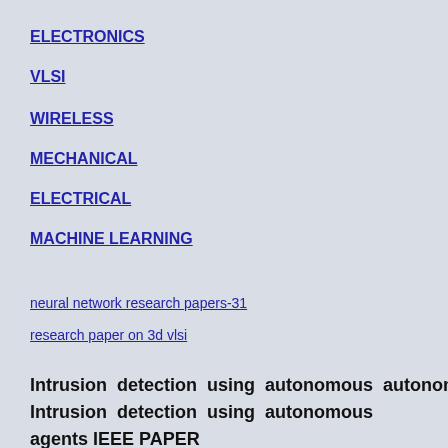ELECTRONICS
VLSI
WIRELESS
MECHANICAL
ELECTRICAL
MACHINE LEARNING
neural network research papers-31
research paper on 3d vlsi
Intrusion detection using autonomous agents IEEE PAPER